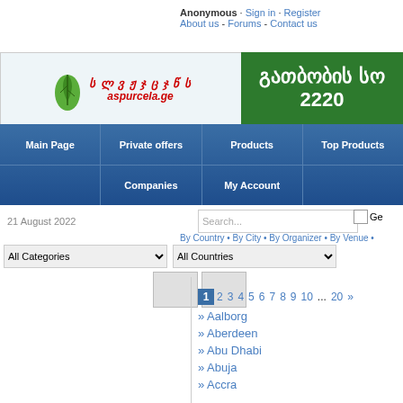Anonymous · Sign in · Register
About us - Forums - Contact us
[Figure (logo): aspurcela.ge logo with leaf icon and Georgian text]
[Figure (other): Green banner with Georgian text and 2220]
Main Page | Private offers | Products | Top Products | Companies | My Account
21 August 2022
Search...
By Country • By City • By Organizer • By Venue •
All Categories
All Countries
1 2 3 4 5 6 7 8 9 10 ... 20 »
» Aalborg
» Aberdeen
» Abu Dhabi
» Abuja
» Accra
» Addis Ababa
» Adelaide
» Agadir
» Agartala